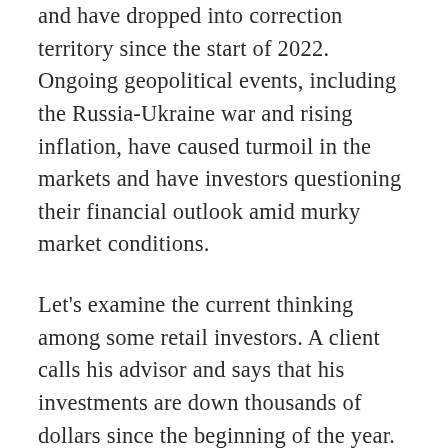and have dropped into correction territory since the start of 2022. Ongoing geopolitical events, including the Russia-Ukraine war and rising inflation, have caused turmoil in the markets and have investors questioning their financial outlook amid murky market conditions.
Let's examine the current thinking among some retail investors. A client calls his advisor and says that his investments are down thousands of dollars since the beginning of the year. Depending on your own financial situation, this may strike you as a lot of